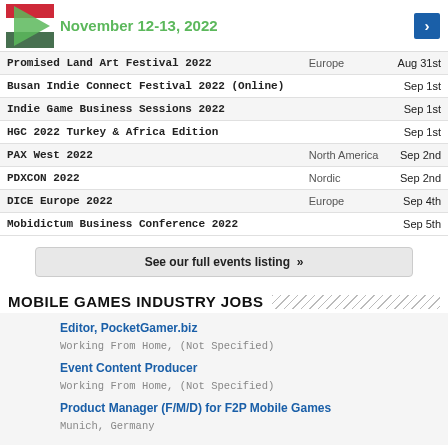[Figure (logo): Event logo with triangular graphic and green date text 'November 12-13, 2022' with a blue arrow button]
| Event | Region | Date |
| --- | --- | --- |
| Promised Land Art Festival 2022 | Europe | Aug 31st |
| Busan Indie Connect Festival 2022 (Online) |  | Sep 1st |
| Indie Game Business Sessions 2022 |  | Sep 1st |
| HGC 2022 Turkey & Africa Edition |  | Sep 1st |
| PAX West 2022 | North America | Sep 2nd |
| PDXCON 2022 | Nordic | Sep 2nd |
| DICE Europe 2022 | Europe | Sep 4th |
| Mobidictum Business Conference 2022 |  | Sep 5th |
See our full events listing »
MOBILE GAMES INDUSTRY JOBS
Editor, PocketGamer.biz — Working From Home, (Not Specified)
Event Content Producer — Working From Home, (Not Specified)
Product Manager (F/M/D) for F2P Mobile Games — Munich, Germany